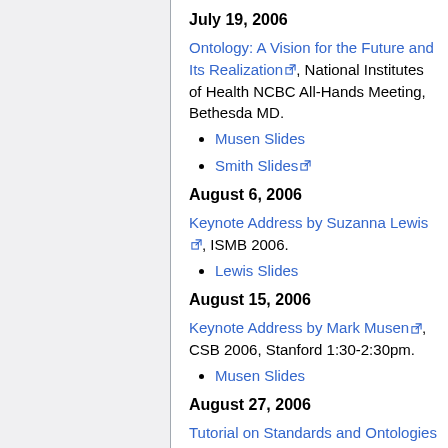July 19, 2006
Ontology: A Vision for the Future and Its Realization, National Institutes of Health NCBC All-Hands Meeting, Bethesda MD.
Musen Slides
Smith Slides
August 6, 2006
Keynote Address by Suzanna Lewis, ISMB 2006.
Lewis Slides
August 15, 2006
Keynote Address by Mark Musen, CSB 2006, Stanford 1:30-2:30pm.
Musen Slides
August 27, 2006
Tutorial on Standards and Ontologies